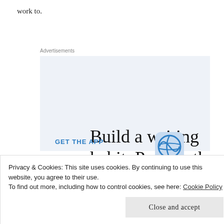work to.
Advertisements
[Figure (screenshot): WordPress advertisement: 'Build a writing habit. Post on the go.' with 'GET THE APP' call to action and WordPress logo]
Privacy & Cookies: This site uses cookies. By continuing to use this website, you agree to their use.
To find out more, including how to control cookies, see here: Cookie Policy
Close and accept